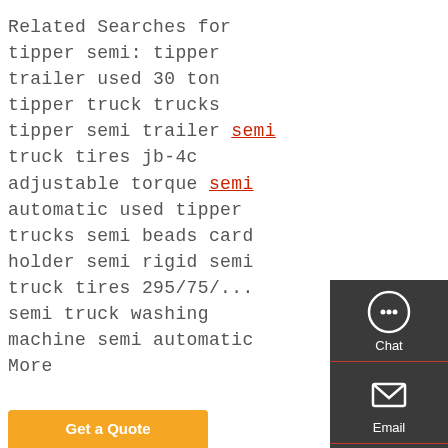Related Searches for tipper semi: tipper trailer used 30 ton tipper truck trucks tipper semi trailer semi truck tires jb-4c adjustable torque semi automatic used tipper trucks semi beads card holder semi rigid semi truck tires 295/75/ semi truck washing machine semi automatic More
[Figure (infographic): Sidebar widget with Chat, Email, Contact, and Top buttons stacked vertically on dark background]
Get a Quote